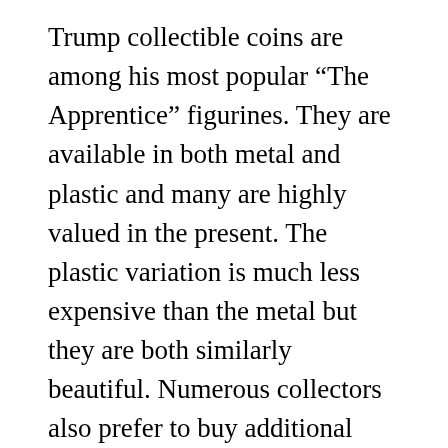Trump collectible coins are among his most popular “The Apprentice” figurines. They are available in both metal and plastic and many are highly valued in the present. The plastic variation is much less expensive than the metal but they are both similarly beautiful. Numerous collectors also prefer to buy additional pieces from the series instead of having just one coin. This lets them build an assortment of Donald trump pieces. A few of these figurines have ended up being called “The Apprentice” wedding event cake toppers.
Another popular Donald Trump collectible coin is the Donald Trump Basking Pool coin. The Donald Trump basking pool is a plastic